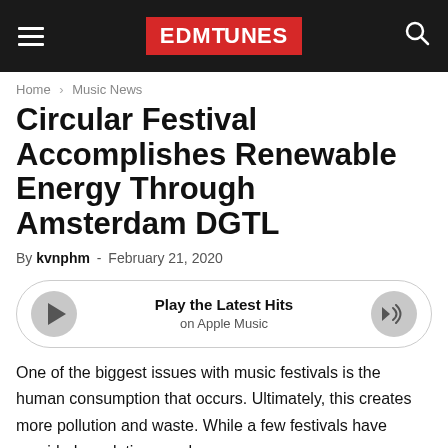EDMTunes
Home › Music News
Circular Festival Accomplishes Renewable Energy Through Amsterdam DGTL
By kvnphm - February 21, 2020
[Figure (other): Play the Latest Hits on Apple Music player bar with play button and volume icon]
One of the biggest issues with music festivals is the human consumption that occurs. Ultimately, this creates more pollution and waste. While a few festivals have provided resolutions such